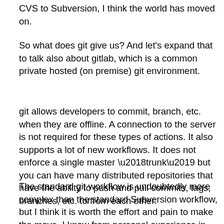CVS to Subversion, I think the world has moved on.
So what does git give us?  And let's expand that to talk also about gitlab, which is a common private hosted (on premise) git environment.
git allows developers to commit, branch, etc. when they are offline.  A connection to the server is not required for these types of actions.  It also supports a lot of new workflows.  It does not enforce a single master ‘trunk’ but you can have many distributed repositories that have the ability to push and pull commits, tags, branches, etc. to/from each other.
The standard git workflow is undoubtedly more complex than the standard Subversion workflow, but I think it is worth the effort and pain to make the move.  I know from personal experience in many projects using Subversion